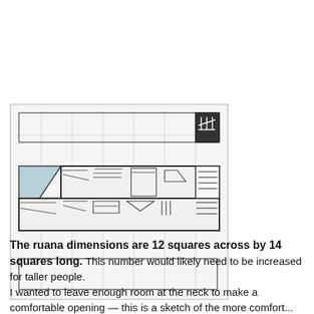[Figure (illustration): Hand-drawn pencil sketch on graph paper showing a ruana garment layout: a rectangular grid with squares, featuring a triangular neck opening on the left side, and multiple horizontal rows marked out — appears to show two body panels separated by a neck opening, with faint grid lines throughout.]
The ruana dimensions are 12 squares across by 14 squares long. This number would likely need to be increased for taller people.
I wanted to leave enough room at the neck to make a comfortable opening — this is a sketch of the more comfort...